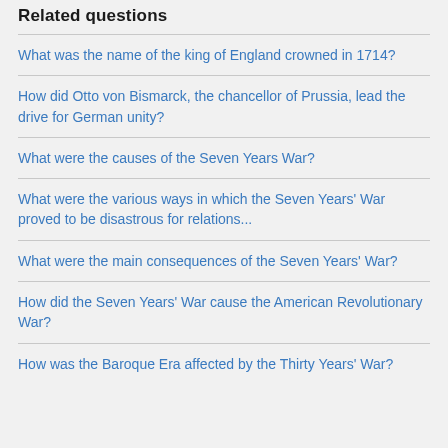Related questions
What was the name of the king of England crowned in 1714?
How did Otto von Bismarck, the chancellor of Prussia, lead the drive for German unity?
What were the causes of the Seven Years War?
What were the various ways in which the Seven Years' War proved to be disastrous for relations...
What were the main consequences of the Seven Years' War?
How did the Seven Years' War cause the American Revolutionary War?
How was the Baroque Era affected by the Thirty Years' War?